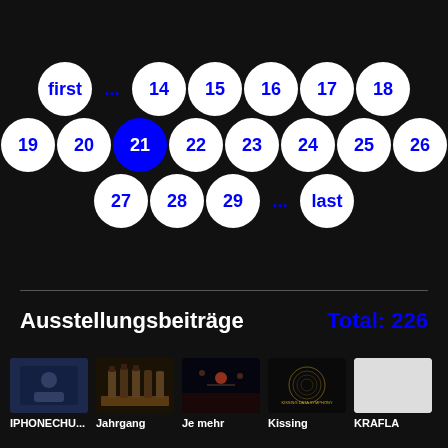[Figure (other): Pagination controls with circular buttons. Row 1: first, ..., 14, 15, 16, 17, 18. Row 2: 19, 20, 21 (active/blue), 22, 23, 24, 25, 26. Row 3: 27, 28, 29, ..., last.]
Ausstellungsbeiträge
Total: 226
[Figure (photo): Thumbnail image of a person, dark blue background]
IPHONECHU...
[Figure (photo): Thumbnail image of wine bottles on a wooden surface]
Jahrgang
[Figure (photo): Thumbnail image of a dark stage scene]
Je mehr
[Figure (photo): Thumbnail image with text 'KISSING DATA SYMPHONY']
Kissing
[Figure (photo): Thumbnail image, white/light gray background]
KRAFLA